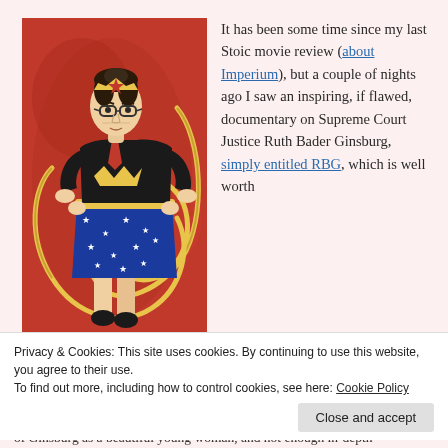[Figure (illustration): Illustration of Ruth Bader Ginsburg dressed as Wonder Woman, with glasses, a Wonder Woman tiara with a red star, black top with Wonder Woman logo, blue star-spangled skirt, red necktie, and a lasso swirling around her, against a red background.]
It has been some time since my last Stoic movie review (about Imperium), but a couple of nights ago I saw an inspiring, if flawed, documentary on Supreme Court Justice Ruth Bader Ginsburg, simply entitled RBG, which is well worth
Privacy & Cookies: This site uses cookies. By continuing to use this website, you agree to their use.
To find out more, including how to control cookies, see here: Cookie Policy
of Ginsburg as a beautiful young woman, and not enough in-depth